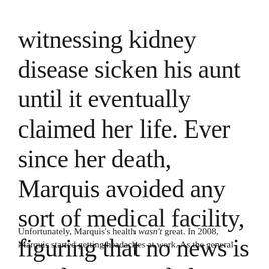witnessing kidney disease sicken his aunt until it eventually claimed her life. Ever since her death, Marquis avoided any sort of medical facility, figuring that no news is good news, and if you felt great, you probably were great.
Unfortunately, Marquis's health wasn't great. In 2008, Marquis started getting headaches at work. As the general